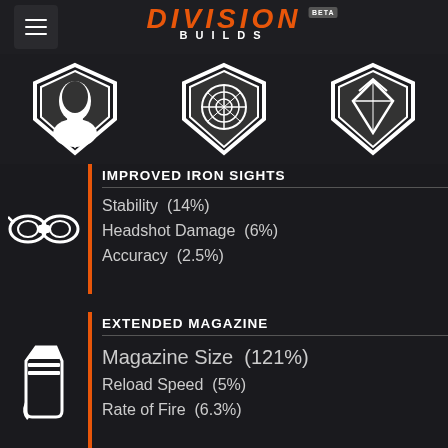DIVISION BUILDS BETA
[Figure (illustration): Three shield icons: one with face silhouette, one with brain/circuit pattern, one with mountain/diamond pattern]
IMPROVED IRON SIGHTS
Stability  (14%)
Headshot Damage  (6%)
Accuracy  (2.5%)
EXTENDED MAGAZINE
Magazine Size  (121%)
Reload Speed  (5%)
Rate of Fire  (6.3%)
COMPENSATOR
Stability  (14%)